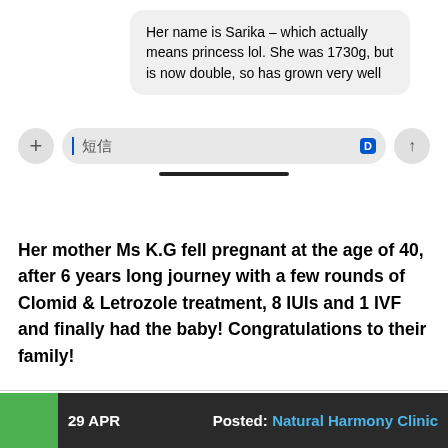[Figure (screenshot): Chat message bubble showing text: 'Her name is Sarika – which actually means princess lol. She was 1730g, but is now double, so has grown very well', followed by a message input field with '+' button, Chinese characters '短信', a blue 'D' icon, and an up-arrow send button, and a home indicator bar.]
Her mother Ms K.G fell pregnant at the age of 40, after 6 years long journey with a few rounds of Clomid & Letrozole treatment, 8 IUIs and 1 IVF and finally had the baby! Congratulations to their family!
[Figure (screenshot): Bottom bar showing a green square on left, dark background with '29 APR' text, and 'Posted: Natural Harmony Clinic' text in white and light blue.]